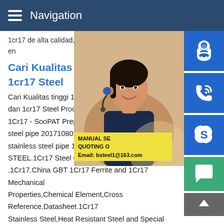Navigation
1cr17 de alta calidad,proveedores de 1cr1 mejor precio en
Cari Kualitas tinggi 1cr17 Ste 1cr17 Steel
Cari Kualitas tinggi 1cr17 Steel Produsen dan 1cr17 Steel Produk di Harga Terbaik d 1Cr17 - SooPAT Preparation method of 1C steel pipe 201710802962.2 2017-09-081c stainless steel pipe 1Cr17 property-Duhon STEEL.1Cr17 Steel Chemical composition .1Cr17.China GBT 1Cr17 Ferrite and 1Cr17 Mechanical Properties,Chemical Element,Cross Reference,Datasheet.1Cr17 Stainless Steel,Heat Resistant Steel and Special Physical properties of grade 1Cr17; Property Density kg/dm3 Temperat 1Cr17 manufacturer#176;C/F Specific heat J / kgK Thermal
[Figure (photo): Customer service woman with headset, smiling, with blue contact/support icons on the right side (headset icon, phone icon, Skype icon), a yellow banner with MANUAL SE... and QUOTING O... text and Email: bsteel1@163.com, a green chat bubble icon, and a gray scroll-to-top arrow icon.]